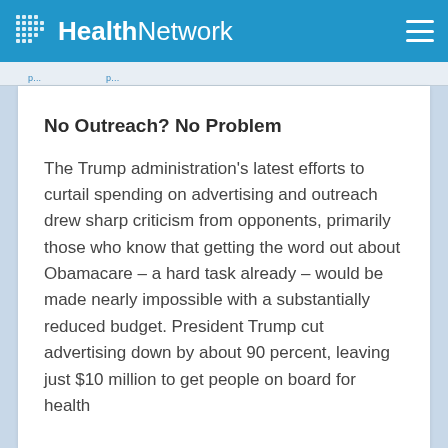HealthNetwork
p...
No Outreach? No Problem
The Trump administration's latest efforts to curtail spending on advertising and outreach drew sharp criticism from opponents, primarily those who know that getting the word out about Obamacare – a hard task already – would be made nearly impossible with a substantially reduced budget. President Trump cut advertising down by about 90 percent, leaving just $10 million to get people on board for health